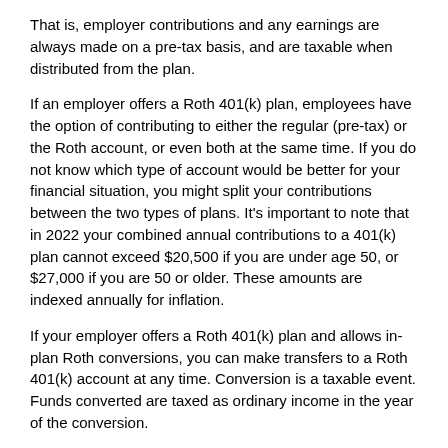That is, employer contributions and any earnings are always made on a pre-tax basis, and are taxable when distributed from the plan.
If an employer offers a Roth 401(k) plan, employees have the option of contributing to either the regular (pre-tax) or the Roth account, or even both at the same time. If you do not know which type of account would be better for your financial situation, you might split your contributions between the two types of plans. It's important to note that in 2022 your combined annual contributions to a 401(k) plan cannot exceed $20,500 if you are under age 50, or $27,000 if you are 50 or older. These amounts are indexed annually for inflation.
If your employer offers a Roth 401(k) plan and allows in-plan Roth conversions, you can make transfers to a Roth 401(k) account at any time. Conversion is a taxable event. Funds converted are taxed as ordinary income in the year of the conversion.
Upon separation of service, you can roll over your Roth 401(k) assets to another Roth 401(k), a Roth 403(b), or a Roth IRA. Assets cannot be rolled over to a traditional 401(k) account. If you transition from an employer that offers a Roth 401(k) account to an employer that does not, your only option would be to roll the assets directly to a Roth IRA or to leave your money in your former employer's plan (if allowed).
The required minimum distribution guidelines of a Roth 401(k) work like those of traditional 401(k) plans. You must generally begin taking